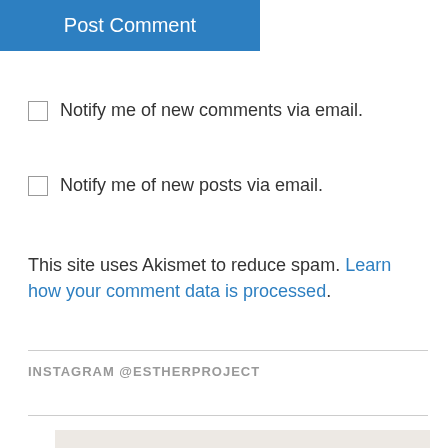Post Comment
Notify me of new comments via email.
Notify me of new posts via email.
This site uses Akismet to reduce spam. Learn how your comment data is processed.
INSTAGRAM @ESTHERPROJECT
[Figure (photo): Light beige/tan colored image placeholder at the bottom of the page]